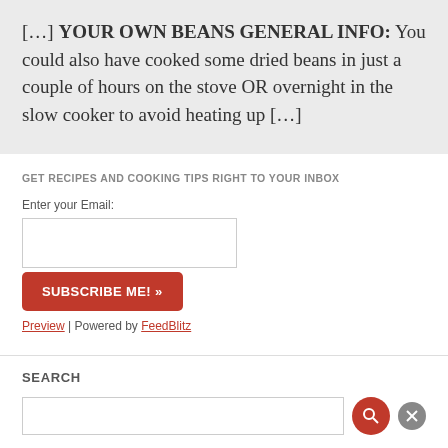[…] YOUR OWN BEANS GENERAL INFO:  You could also have cooked some dried beans in just a couple of hours on the stove OR overnight in the slow cooker to avoid heating up […]
GET RECIPES AND COOKING TIPS RIGHT TO YOUR INBOX
Enter your Email:
SUBSCRIBE ME! »
Preview | Powered by FeedBlitz
SEARCH